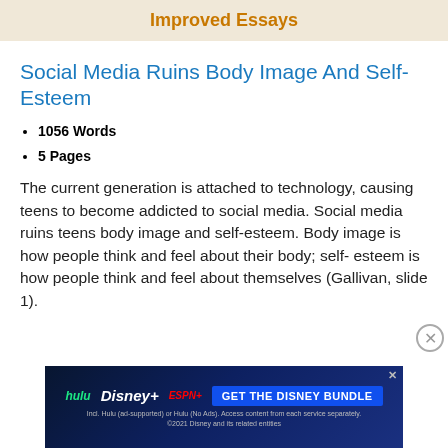Improved Essays
Social Media Ruins Body Image And Self-Esteem
1056 Words
5 Pages
The current generation is attached to technology, causing teens to become addicted to social media. Social media ruins teens body image and self-esteem. Body image is how people think and feel about their body; self- esteem is how people think and feel about themselves (Gallivan, slide 1).
[Figure (infographic): Disney Bundle advertisement banner showing Hulu, Disney+, ESPN+ logos with 'GET THE DISNEY BUNDLE' call-to-action button and fine print about service details.]